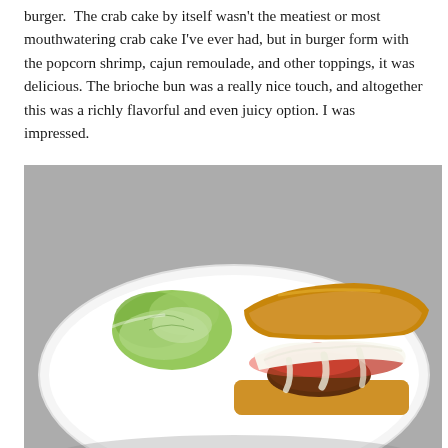burger.  The crab cake by itself wasn't the meatiest or most mouthwatering crab cake I've ever had, but in burger form with the popcorn shrimp, cajun remoulade, and other toppings, it was delicious. The brioche bun was a really nice touch, and altogether this was a richly flavorful and even juicy option. I was impressed.
[Figure (photo): A white plate with an open-faced burger topped with melted white cheese and red sauce, accompanied by green lettuce on the side. The burger sits on a toasted bun.]